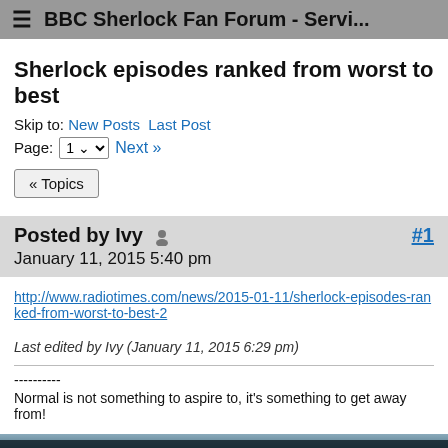BBC Sherlock Fan Forum - Servi...
Sherlock episodes ranked from worst to best
Skip to: New Posts  Last Post
Page: 1 ▾  Next »
« Topics
Posted by Ivy  #1
January 11, 2015 5:40 pm
http://www.radiotimes.com/news/2015-01-11/sherlock-episodes-ranked-from-worst-to-best-2
Last edited by Ivy (January 11, 2015 6:29 pm)
----------
Normal is not something to aspire to, it's something to get away from!
[Figure (photo): Partial dark/blue-tinted image at bottom of page, appears to be a scene with dark silhouettes against a pale background]